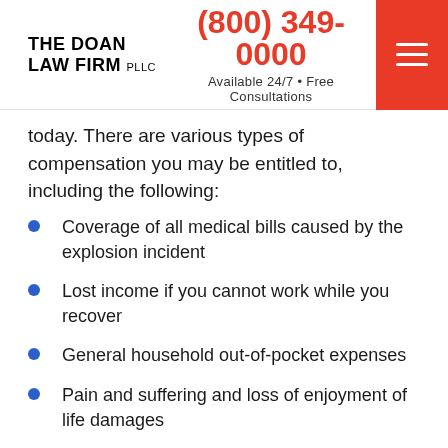THE DOAN LAW FIRM PLLC | (800) 349-0000 | Available 24/7 • Free Consultations
today. There are various types of compensation you may be entitled to, including the following:
Coverage of all medical bills caused by the explosion incident
Lost income if you cannot work while you recover
General household out-of-pocket expenses
Pain and suffering and loss of enjoyment of life damages